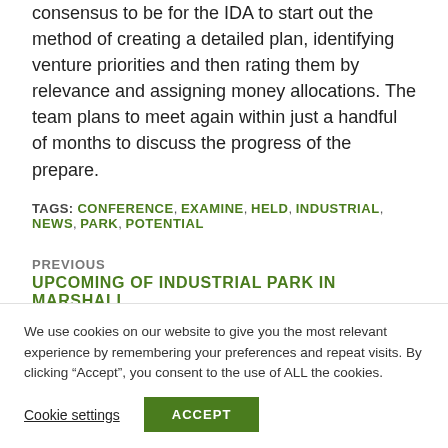consensus to be for the IDA to start out the method of creating a detailed plan, identifying venture priorities and then rating them by relevance and assigning money allocations. The team plans to meet again within just a handful of months to discuss the progress of the prepare.
TAGS: CONFERENCE, EXAMINE, HELD, INDUSTRIAL, NEWS, PARK, POTENTIAL
PREVIOUS
UPCOMING OF INDUSTRIAL PARK IN MARSHALL
We use cookies on our website to give you the most relevant experience by remembering your preferences and repeat visits. By clicking "Accept", you consent to the use of ALL the cookies.
Cookie settings
ACCEPT